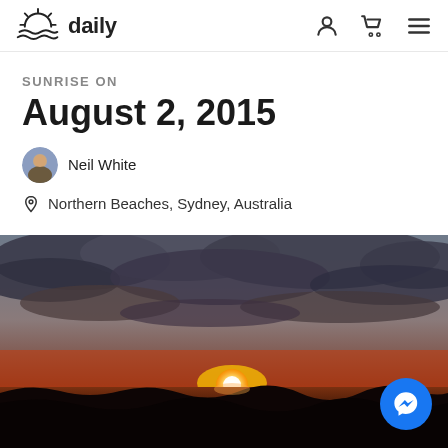sunrise daily
SUNRISE ON
August 2, 2015
Neil White
Northern Beaches, Sydney, Australia
[Figure (photo): Sunrise photo over Northern Beaches, Sydney, Australia. A dramatic ocean sunrise with a bright orange and yellow sun rising at the horizon, dark storm clouds above, and waves crashing in the foreground. A Facebook Messenger button overlays the bottom right corner.]